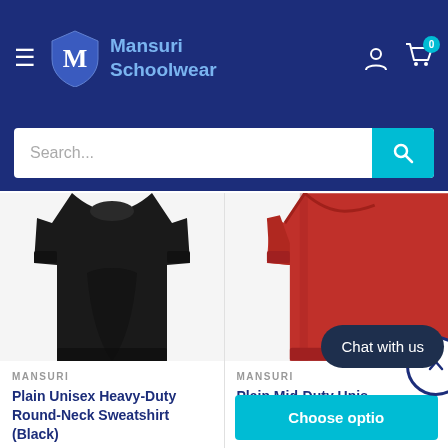[Figure (screenshot): Mansuri Schoolwear e-commerce website header with navy blue background, hamburger menu, shield logo with M, brand name 'Mansuri Schoolwear', user and cart icons with badge showing 0]
[Figure (screenshot): Search bar with placeholder text 'Search...' and cyan search button with magnifying glass icon]
[Figure (photo): Black plain unisex sweatshirt product photo on white/light grey background]
MANSURI
Plain Unisex Heavy-Duty Round-Neck Sweatshirt (Black)
From £8
Choose options
[Figure (photo): Red plain mid-duty unisex sweatshirt product photo, partially visible on right side]
MANSURI
Plain Mid-Duty Unisex Sweatshirt - Red
Chat with us
Choose optio